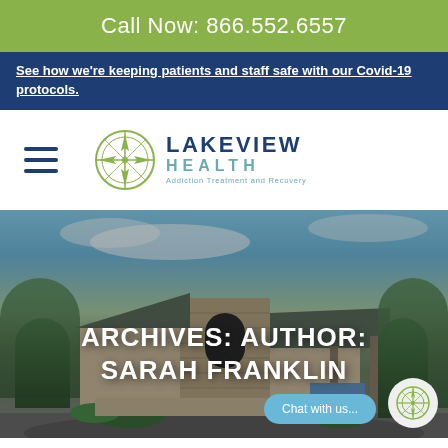Call Now: 866.552.6557
See how we're keeping patients and staff safe with our Covid-19 protocols.
[Figure (logo): Lakeview Health logo with compass rose icon and text 'Lakeview Health Addiction Treatment and Recovery', alongside a hamburger menu icon]
[Figure (photo): Exterior photo of Lakeview Health building with stone facade, covered entrance, surrounded by trees under a blue sky]
ARCHIVES: AUTHOR: SARAH FRANKLIN